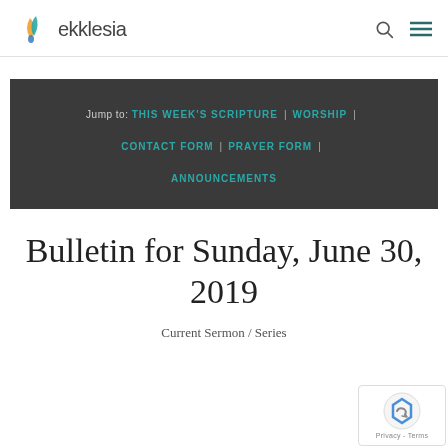ekklesia
Jump to: THIS WEEK'S SCRIPTURE | WORSHIP | CONTACT FORM | PRAYER FORM | ANNOUNCEMENTS
Bulletin for Sunday, June 30, 2019
Current Sermon / Series
[Figure (logo): reCAPTCHA Privacy - Terms badge]